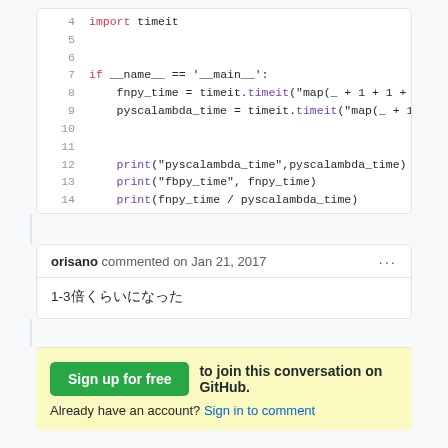[Figure (screenshot): Code block showing Python lines 4-14 with syntax highlighting. Line 4: import timeit. Lines 5-6: blank. Line 7: if __name__ == '__main__':. Line 8: fnpy_time = timeit.timeit("map(_ + 1 + 1 + 1. Line 9: pyscalambda_time = timeit.timeit("map(_ + 1 +. Lines 10-11: blank. Line 12: print("pyscalambda_time",pyscalambda_time). Line 13: print("fbpy_time", fnpy_time). Line 14: print(fnpy_time / pyscalambda_time)]
orisano commented on Jan 21, 2017
1-3倍くらいになった
Sign up for free to join this conversation on GitHub. Already have an account? Sign in to comment